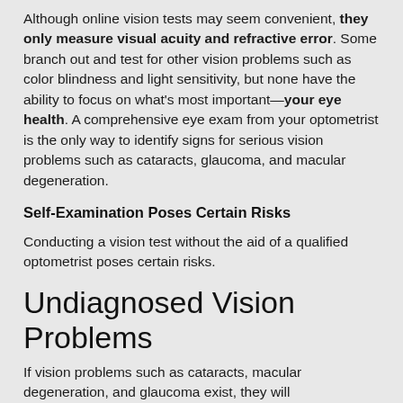Although online vision tests may seem convenient, they only measure visual acuity and refractive error. Some branch out and test for other vision problems such as color blindness and light sensitivity, but none have the ability to focus on what's most important—your eye health. A comprehensive eye exam from your optometrist is the only way to identify signs for serious vision problems such as cataracts, glaucoma, and macular degeneration.
Self-Examination Poses Certain Risks
Conducting a vision test without the aid of a qualified optometrist poses certain risks.
Undiagnosed Vision Problems
If vision problems such as cataracts, macular degeneration, and glaucoma exist, they will